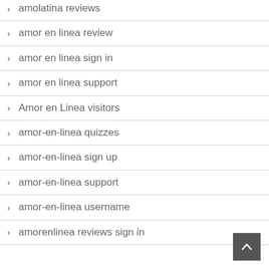amolatina reviews
amor en linea review
amor en linea sign in
amor en linea support
Amor en Linea visitors
amor-en-linea quizzes
amor-en-linea sign up
amor-en-linea support
amor-en-linea username
amorenlinea reviews sign in